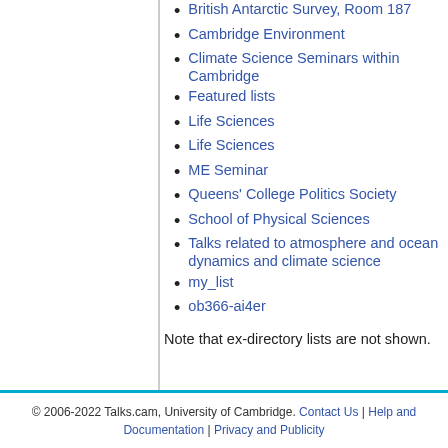British Antarctic Survey, Room 187
Cambridge Environment
Climate Science Seminars within Cambridge
Featured lists
Life Sciences
Life Sciences
ME Seminar
Queens' College Politics Society
School of Physical Sciences
Talks related to atmosphere and ocean dynamics and climate science
my_list
ob366-ai4er
Note that ex-directory lists are not shown.
© 2006-2022 Talks.cam, University of Cambridge. Contact Us | Help and Documentation | Privacy and Publicity